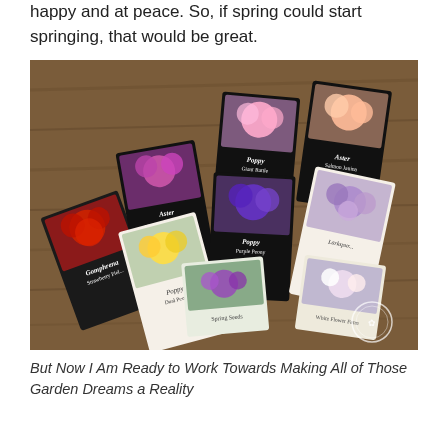happy and at peace. So, if spring could start springing, that would be great.
[Figure (photo): A collection of flower seed packets spread out on a rustic wooden surface. Packets include Gomphrena Strawberry Fields, Aster Matsumoto Red Striped, Poppy Giant Rattle, Aster Salmon Janina, Poppy Purple Peony, Poppy Dual Peony, and others from Fruitsandseeds and White Flower Farm brands, featuring colorful flower photos on each packet.]
But Now I Am Ready to Work Towards Making All of Those Garden Dreams a Reality